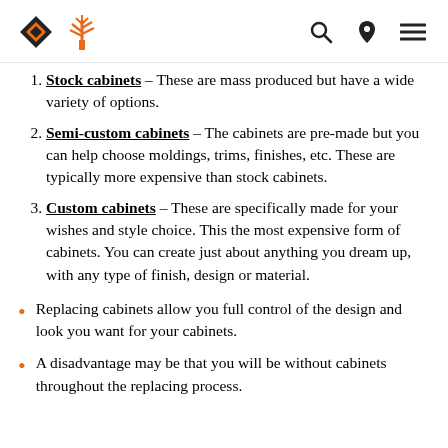Logo and navigation icons
Stock cabinets – These are mass produced but have a wide variety of options.
Semi-custom cabinets – The cabinets are pre-made but you can help choose moldings, trims, finishes, etc. These are typically more expensive than stock cabinets.
Custom cabinets – These are specifically made for your wishes and style choice. This the most expensive form of cabinets. You can create just about anything you dream up, with any type of finish, design or material.
Replacing cabinets allow you full control of the design and look you want for your cabinets.
A disadvantage may be that you will be without cabinets throughout the replacing process.